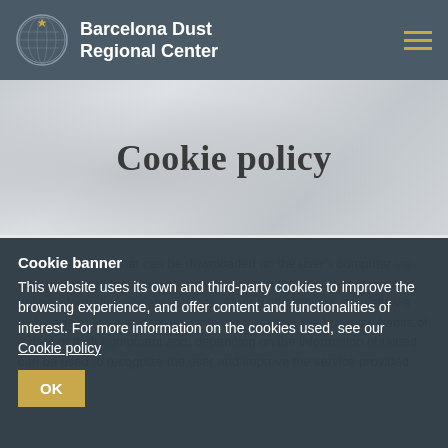Barcelona Dust Regional Center
Cookie policy
Cookie banner
This website uses its own and third-party cookies to improve the browsing experience, and offer content and functionalities of interest. For more information on the cookies used, see our Cookie policy
OK